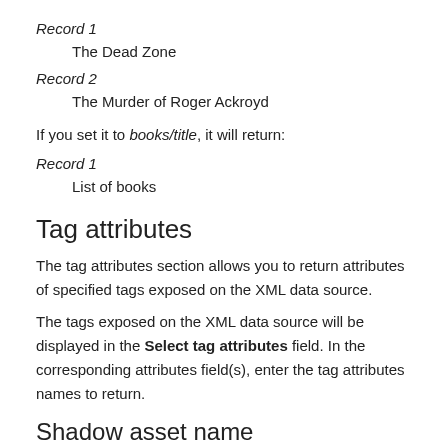Record 1
The Dead Zone
Record 2
The Murder of Roger Ackroyd
If you set it to books/title, it will return:
Record 1
List of books
Tag attributes
The tag attributes section allows you to return attributes of specified tags exposed on the XML data source.
The tags exposed on the XML data source will be displayed in the Select tag attributes field. In the corresponding attributes field(s), enter the tag attributes names to return.
Shadow asset name